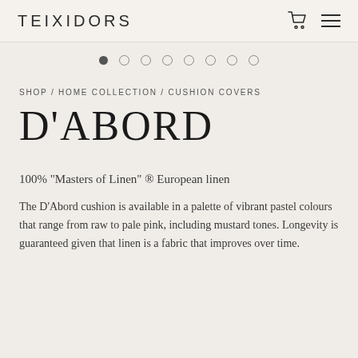TEIXIDORS
[Figure (other): Carousel pagination dots: 8 dots, first filled/active, rest empty circles]
SHOP / HOME COLLECTION / CUSHION COVERS
D'ABORD
100% "Masters of Linen" ® European linen
The D'Abord cushion is available in a palette of vibrant pastel colours that range from raw to pale pink, including mustard tones. Longevity is guaranteed given that linen is a fabric that improves over time.